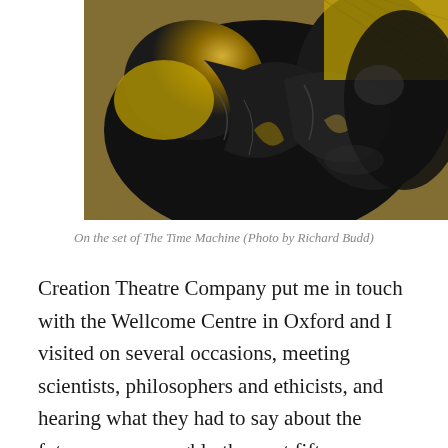[Figure (photo): Close-up photo of crumpled metallic foil or fabric in black and gold tones, on the set of The Time Machine]
On the set of The Time Machine (Photo by Richard Budd)
Creation Theatre Company put me in touch with the Wellcome Centre in Oxford and I visited on several occasions, meeting scientists, philosophers and ethicists, and hearing what they had to say about the future – over roughly the next fifty years. So, inspired – as it were – by H.G. Wells THE TIME MACHINE, I ...